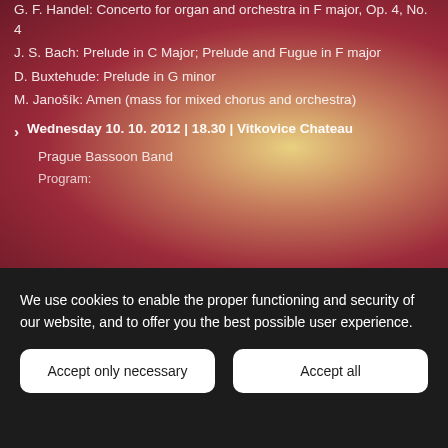G. F. Handel: Concerto for organ and orchestra in F major, Op. 4, No. 4
J. S. Bach: Prelude in C Major; Prelude and Fugue in F major
D. Buxtehude: Prelude in G minor
M. Janošík: Amen (mass for mixed chorus and orchestra)
Wednesday 10. 10. 2012 | 18.30 | Vitkovice Chateau
Prague Bassoon Band
Program:
We use cookies to enable the proper functioning and security of our website, and to offer you the best possible user experience.
Accept only necessary
Accept all